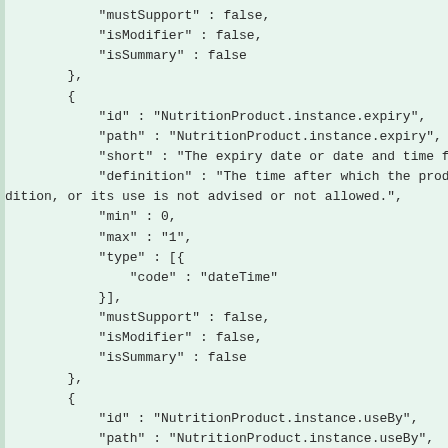"mustSupport" : false,
"isModifier" : false,
"isSummary" : false
},
{
  "id" : "NutritionProduct.instance.expiry",
  "path" : "NutritionProduct.instance.expiry",
  "short" : "The expiry date or date and time for the proc
  "definition" : "The time after which the product is no l
dition, or its use is not advised or not allowed.",
  "min" : 0,
  "max" : "1",
  "type" : [{
    "code" : "dateTime"
  }],
  "mustSupport" : false,
  "isModifier" : false,
  "isSummary" : false
},
{
  "id" : "NutritionProduct.instance.useBy",
  "path" : "NutritionProduct.instance.useBy",
  "short" : "The date until which the product is expected
  "definition" : "The time after which the product is no l
dition, or its use is not advised or not allowed.",
  "min" : 0,
  "max" : "1",
  "type" : [{{
    "code" : "dateTime",